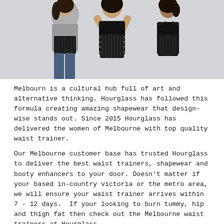[Figure (photo): Three women modeling black waist trainer shapewear garments against a light gray background. Left model wears gray long-sleeve top with black waist trainer and jeans. Center model wears black tank top with black ribbed waist trainer, hands raised. Right model shown from back wearing black waist trainer.]
Melbourn is a cultural hub full of art and alternative thinking. Hourglass has followed this formula creating amazing shapewear that design-wise stands out. Since 2015 Hourglass has delivered the women of Melbourne with top quality waist trainer.
Our Melbourne customer base has trusted Hourglass to deliver the best waist trainers, shapewear and booty enhancers to your door. Doesn't matter if your based in-country victoria or the metro area, we will ensure your waist trainer arrives within 7 - 12 days.  If your looking to burn tummy, hip and thigh fat then check out the Melbourne waist trainers at Hourglass.
With hundreds of five-star reviews across all our products,